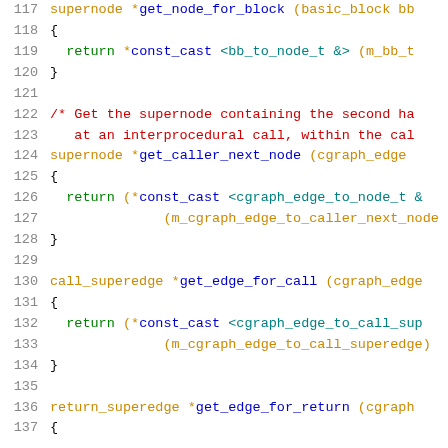[Figure (screenshot): Source code listing showing C++ class method definitions with line numbers 117-137. Methods include get_node_for_block, get_caller_next_node, get_edge_for_call, and get_edge_for_return. Syntax highlighted with green keywords, red comments, blue/teal identifiers.]